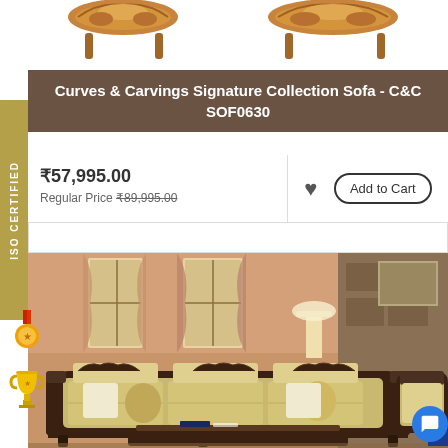[Figure (photo): Wooden carved sofa legs visible at the top of the page on white background]
Curves & Carvings Signature Collection Sofa - C&C SOF0630
₹57,995.00
Regular Price ₹89,995.00
Add to Cart
ISO CERTIFIED
[Figure (photo): Living room scene with ornate carved wooden sofa set with golden/beige upholstery, pillows, and elegant interior with curtains and paintings]
[Figure (illustration): Medal and trophy icons on left side]